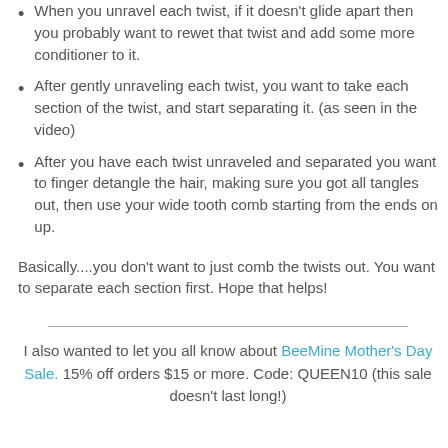When you unravel each twist, if it doesn't glide apart then you probably want to rewet that twist and add some more conditioner to it.
After gently unraveling each twist, you want to take each section of the twist, and start separating it. (as seen in the video)
After you have each twist unraveled and separated you want to finger detangle the hair, making sure you got all tangles out, then use your wide tooth comb starting from the ends on up.
Basically....you don't want to just comb the twists out. You want to separate each section first. Hope that helps!
I also wanted to let you all know about BeeMine Mother's Day Sale. 15% off orders $15 or more. Code: QUEEN10 (this sale doesn't last long!)